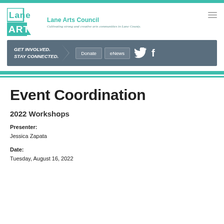[Figure (logo): Lane Arts Council logo with teal square blocks spelling LANE ARTS and text 'Lane Arts Council / Cultivating strong and creative arts communities in Lane County']
[Figure (infographic): Navigation bar with GET INVOLVED. STAY CONNECTED. text, Donate and eNews buttons, Twitter bird icon and Facebook icon]
Event Coordination
2022 Workshops
Presenter:
Jessica Zapata
Date:
Tuesday, August 16, 2022